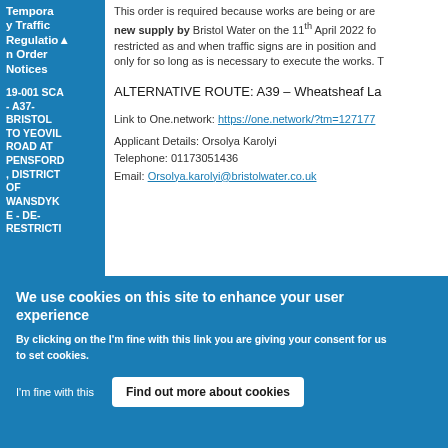Temporary Traffic Regulation Order Notices
19-001 SCA - A37- BRISTOL TO YEOVIL ROAD AT PENSFORD, DISTRICT OF WANSDYKE - DE-RESTRICTI
This order is required because works are being or are new supply by Bristol Water on the 11th April 2022 fo restricted as and when traffic signs are in position and only for so long as is necessary to execute the works. T
ALTERNATIVE ROUTE: A39 – Wheatsheaf La
Link to One.network: https://one.network/?tm=127177
Applicant Details: Orsolya Karolyi
Telephone: 01173051436
Email: Orsolya.karolyi@bristolwater.co.uk
We use cookies on this site to enhance your user experience
By clicking on the I'm fine with this link you are giving your consent for us to set cookies.
I'm fine with this
Find out more about cookies